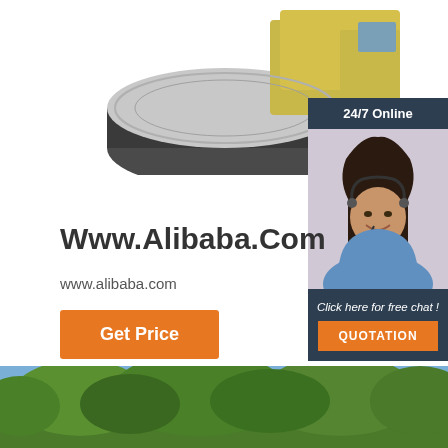[Figure (photo): Road roller / compactor machine, partially visible at top of page, gray and yellow colored]
[Figure (photo): Sidebar panel with dark navy background showing: '24/7 Online' header, photo of smiling female customer service agent wearing headset and blue shirt, 'Click here for free chat!' text, and orange QUOTATION button]
Www.Alibaba.Com
www.alibaba.com
Get Price
[Figure (photo): Green trees under blue sky, bottom portion of page, cropped landscape/nature scene]